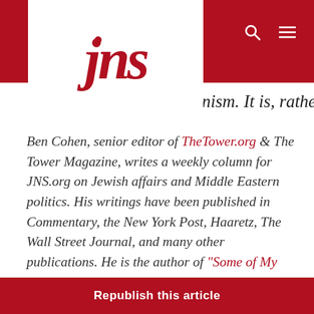JNS
nism. It is, rather, a necessity.
Ben Cohen, senior editor of TheTower.org & The Tower Magazine, writes a weekly column for JNS.org on Jewish affairs and Middle Eastern politics. His writings have been published in Commentary, the New York Post, Haaretz, The Wall Street Journal, and many other publications. He is the author of “Some of My Best Friends: A Journey Through Twenty-First Century Antisemitism” (Edition Critic, 2014).
Republish this article